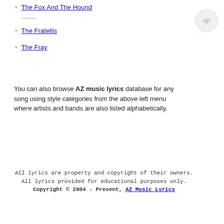The Fox And The Hound
The Fratellis
The Fray
You can also browse AZ music lyrics database for any song using style categories from the above left menu where artists and bands are also listed alphabetically.
All lyrics are property and copyright of their owners. All lyrics provided for educational purposes only. Copyright © 2004 - Present, AZ Music Lyrics